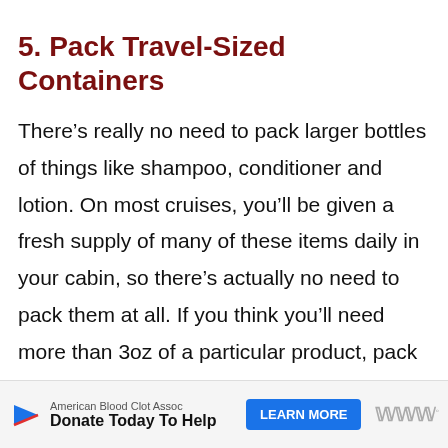5. Pack Travel-Sized Containers
There’s really no need to pack larger bottles of things like shampoo, conditioner and lotion. On most cruises, you’ll be given a fresh supply of many of these items daily in your cabin, so there’s actually no need to pack them at all. If you think you’ll need more than 3oz of a particular product, pack two 3 oz bottles, or pick some up when you’re in port.
[Figure (other): Advertisement banner: American Blood Clot Assoc — Donate Today To Help, with a Learn More button and a logo.]